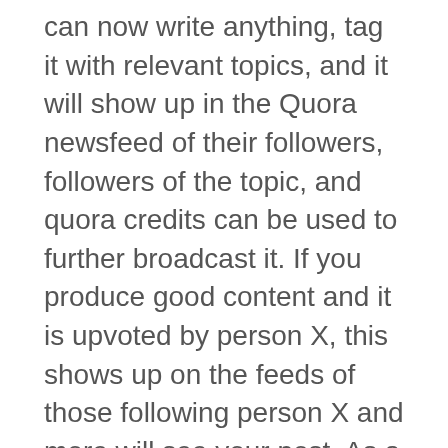can now write anything, tag it with relevant topics, and it will show up in the Quora newsfeed of their followers, followers of the topic, and quora credits can be used to further broadcast it. If you produce good content and it is upvoted by person X, this shows up on the feeds of those following person X and more will see your post. As a marketer and a regular Quora user, I'm excited for this.
According to TechCrunch, "active